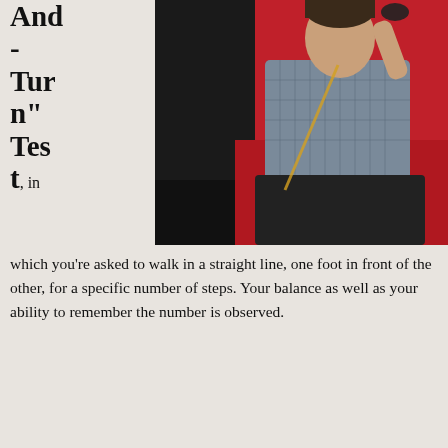[Figure (photo): Man sitting in driver seat of a red car, wearing a gray checked shirt, holding sunglasses]
And - Turn" Test, in which you're asked to walk in a straight line, one foot in front of the other, for a specific number of steps. Your balance as well as your ability to remember the number is observed.
The "One Leg Stand" Test, in which you stand on one leg and count to 30, presumably for 30 seconds. The officer will observe to see if you can stand, or you use your arms, hop, sway, or put down your foot while trying to balance.
In both of these tests, factors such as fatigue, physical condition, injuries, and uncomfortable shoes can make balance difficult. Even so how you may be ruled